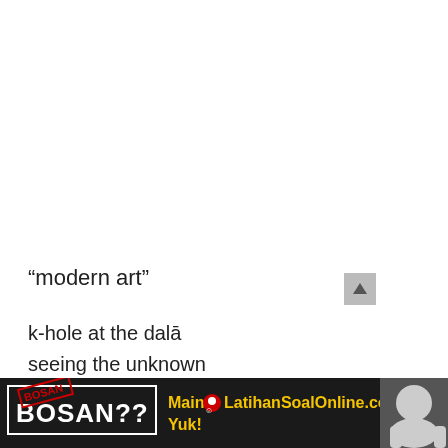“modern art”
k-hole at the dalā
seeing the unknown
well it might have been the molly
’cause my mind’s being blown
take the escalator to the next floor
[Figure (infographic): Dark advertisement banner reading BOSAN?? Main LatihanSoalOnline.com Yuk! with a photo of a child on right and scroll-up arrow button.]